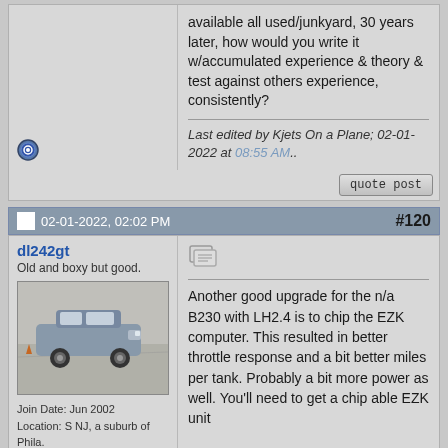available all used/junkyard, 30 years later, how would you write it w/accumulated experience & theory & test against others experience, consistently?
Last edited by Kjets On a Plane; 02-01-2022 at 08:55 AM..
02-01-2022, 02:02 PM #120
dl242gt
Old and boxy but good.
[Figure (photo): Photo of a boxy Volvo sedan autocrossing on a parking lot]
Join Date: Jun 2002
Location: S NJ, a suburb of Phila.
Another good upgrade for the n/a B230 with LH2.4 is to chip the EZK computer. This resulted in better throttle response and a bit better miles per tank. Probably a bit more power as well. You'll need to get a chip able EZK unit